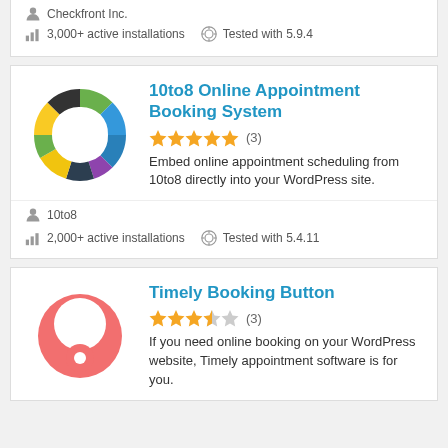Checkfront Inc.
3,000+ active installations   Tested with 5.9.4
10to8 Online Appointment Booking System
★★★★★ (3)
Embed online appointment scheduling from 10to8 directly into your WordPress site.
10to8
2,000+ active installations   Tested with 5.4.11
Timely Booking Button
★★★½☆ (3)
If you need online booking on your WordPress website, Timely appointment software is for you.